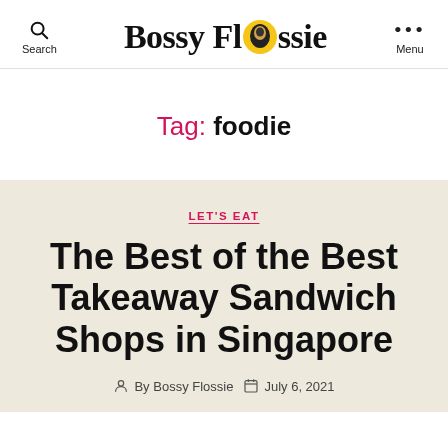Bossy Flossie — Search | Menu
Tag: foodie
LET'S EAT
The Best of the Best Takeaway Sandwich Shops in Singapore
By Bossy Flossie   July 6, 2021